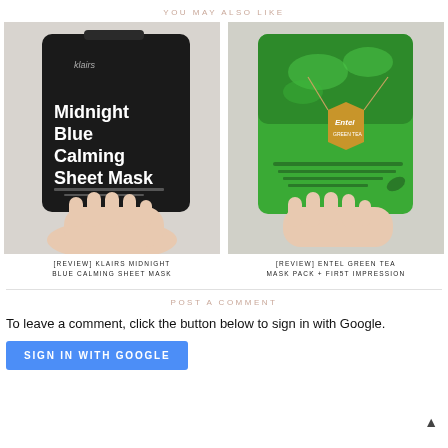YOU MAY ALSO LIKE
[Figure (photo): Hand holding a black Klairs Midnight Blue Calming Sheet Mask packet]
[REVIEW] KLAIRS MIDNIGHT BLUE CALMING SHEET MASK
[Figure (photo): Hand holding a green Entel Green Tea Mask Pack packet with a gold tag]
[REVIEW] ENTEL GREEN TEA MASK PACK + FIRST IMPRESSION
POST A COMMENT
To leave a comment, click the button below to sign in with Google.
SIGN IN WITH GOOGLE